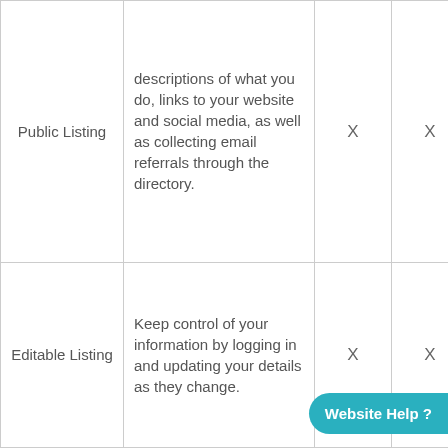| Feature | Description | Col3 | Col4 |
| --- | --- | --- | --- |
| Public Listing | descriptions of what you do, links to your website and social media, as well as collecting email referrals through the directory. | X | X |
| Editable Listing | Keep control of your information by logging in and updating your details as they change. | X | X |